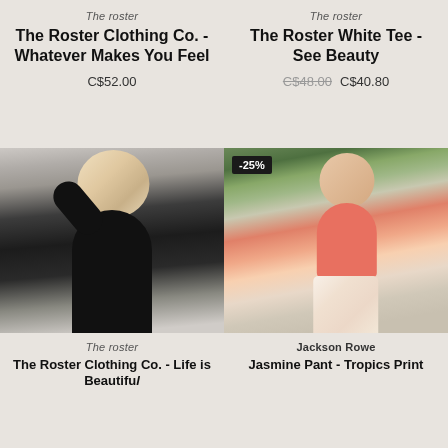The roster
The Roster Clothing Co. - Whatever Makes You Feel
C$52.00
The roster
The Roster White Tee - See Beauty
C$48.00  C$40.80
[Figure (photo): Woman with blonde wavy hair wearing a black long-sleeve top and jeans with a black belt, posing with hand on head]
The roster
The Roster Clothing Co. - Life is Beautiful
[Figure (photo): Woman wearing a pink/coral t-shirt and floral wide-leg pants, standing on a city sidewalk outside a restaurant with plants, with -25% discount badge]
Jackson Rowe
Jasmine Pant - Tropics Print